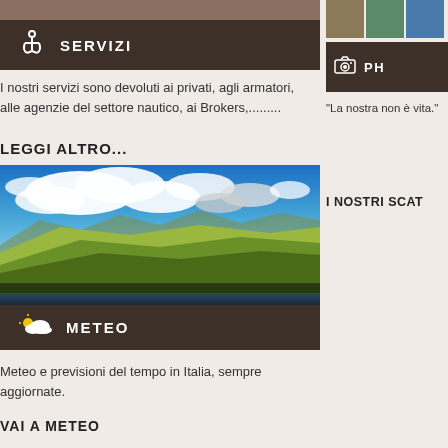[Figure (photo): Dark nautical banner with anchor icon and SERVIZI text on dark brown background]
I nostri servizi sono devoluti ai privati, agli armatori, alle agenzie del settore nautico, ai Brokers,.........
LEGGI ALTRO...
[Figure (photo): Landscape photo with blue sky, white clouds, green and yellow hills, and water in the foreground. Dark brown bar at bottom with cloud/weather icon and METEO text.]
Meteo e previsioni del tempo in Italia, sempre aggiornate.
VAI A METEO
[Figure (photo): Three small thumbnail photos in a row on the right side column]
[Figure (photo): Dark brown banner with camera icon and PH text (partial, cut off)]
"La nostra non è vita."
I NOSTRI SCAT